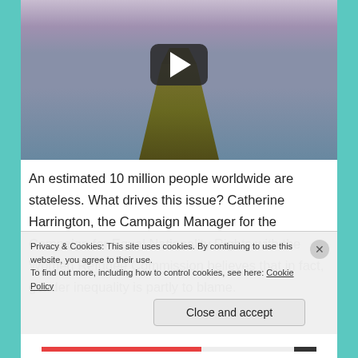[Figure (screenshot): Video thumbnail showing aerial view of a rocky cliff/headland jutting into the ocean, with a YouTube-style play button overlay]
An estimated 10 million people worldwide are stateless. What drives this issue? Catherine Harrington, the Campaign Manager for the Campaign for Equal Nationality Rights with the Women Refugee Commission believes that in fact, gender inequality is partly to blame.
Privacy & Cookies: This site uses cookies. By continuing to use this website, you agree to their use.
To find out more, including how to control cookies, see here: Cookie Policy
Close and accept